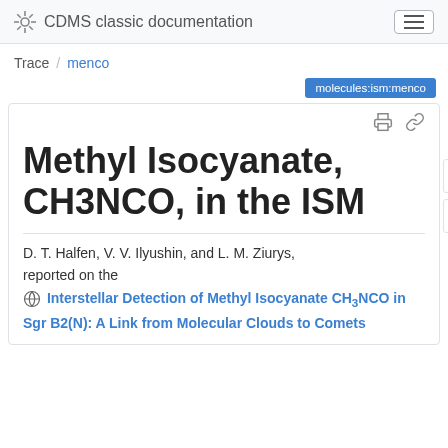CDMS classic documentation
Trace / menco
molecules:ism:menco
Methyl Isocyanate, CH3NCO, in the ISM
D. T. Halfen, V. V. Ilyushin, and L. M. Ziurys, reported on the
Interstellar Detection of Methyl Isocyanate CH3NCO in Sgr B2(N): A Link from Molecular Clouds to Comets